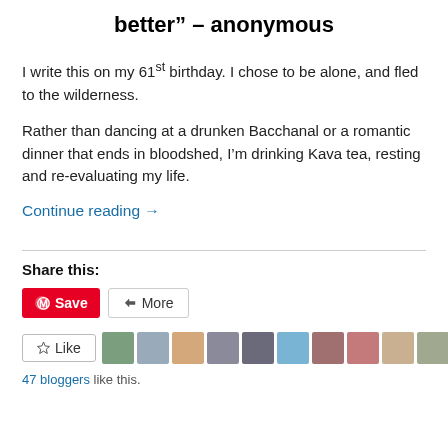better" – anonymous
I write this on my 61st birthday. I chose to be alone, and fled to the wilderness.
Rather than dancing at a drunken Bacchanal or a romantic dinner that ends in bloodshed, I'm drinking Kava tea, resting and re-evaluating my life.
Continue reading →
Share this:
47 bloggers like this.